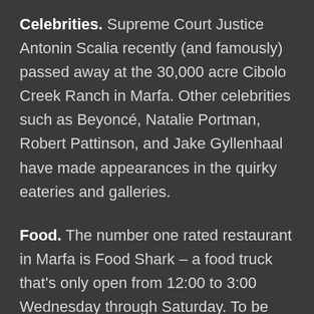Celebrities. Supreme Court Justice Antonin Scalia recently (and famously) passed away at the 30,000 acre Cibolo Creek Ranch in Marfa. Other celebrities such as Beyoncé, Natalie Portman, Robert Pattinson, and Jake Gyllenhaal have made appearances in the quirky eateries and galleries.
Food. The number one rated restaurant in Marfa is Food Shark – a food truck that's only open from 12:00 to 3:00 Wednesday through Saturday. To be fair, most restaurants have odd hours. Order the falafel or a combo plate. Sit at the community bar at Stellina and order homemade pasta or grilled sardines. For fine